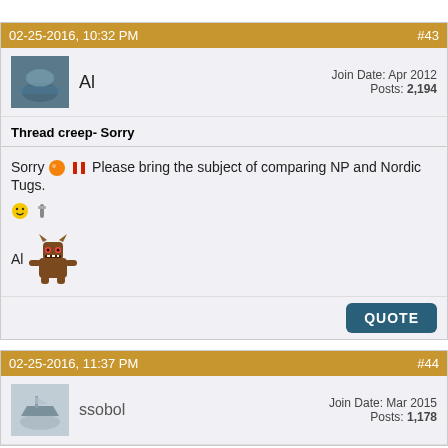02-25-2016, 10:32 PM   #43
Al   Join Date: Apr 2012  Posts: 2,194
Thread creep- Sorry
Sorry [emoji] Please bring the subject of comparing NP and Nordic Tugs. [emoji] Al [emoji]
QUOTE
02-25-2016, 11:37 PM   #44
ssobol   Join Date: Mar 2015  Posts: 1,178